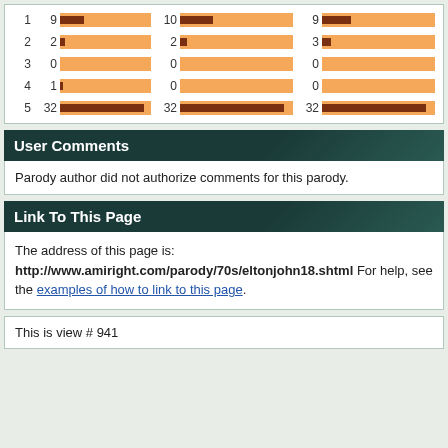[Figure (bar-chart): Rating distribution (3 columns)]
User Comments
Parody author did not authorize comments for this parody.
Link To This Page
The address of this page is: http://www.amiright.com/parody/70s/eltonjohn18.shtml For help, see the examples of how to link to this page.
This is view # 941